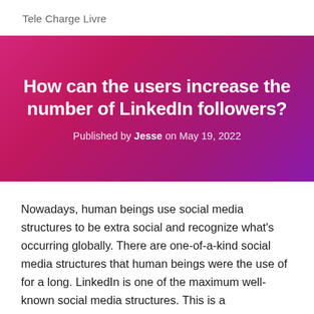Tele Charge Livre
How can the users increase the number of LinkedIn followers?
Published by Jesse on May 19, 2022
Nowadays, human beings use social media structures to be extra social and recognize what's occurring globally. There are one-of-a-kind social media structures that human beings were the use of for a long. LinkedIn is one of the maximum well-known social media structures. This is a